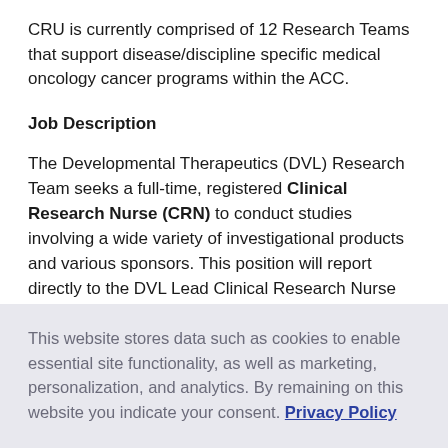CRU is currently comprised of 12 Research Teams that support disease/discipline specific medical oncology cancer programs within the ACC.
Job Description
The Developmental Therapeutics (DVL) Research Team seeks a full-time, registered Clinical Research Nurse (CRN) to conduct studies involving a wide variety of investigational products and various sponsors. This position will report directly to the DVL Lead Clinical Research Nurse and work directly with Physician Investigators ("PI") on clinical research performed. This area of research requires dedicated attention and care to ensure subject safety and well-being. The successful
This website stores data such as cookies to enable essential site functionality, as well as marketing, personalization, and analytics. By remaining on this website you indicate your consent. Privacy Policy